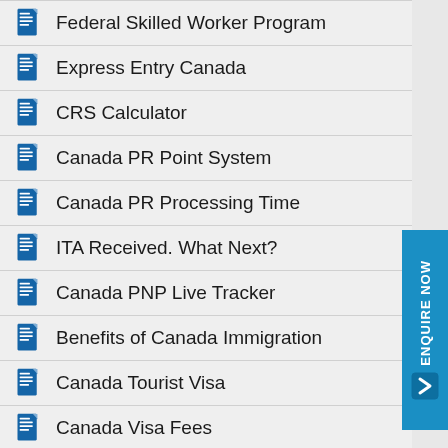Federal Skilled Worker Program
Express Entry Canada
CRS Calculator
Canada PR Point System
Canada PR Processing Time
ITA Received. What Next?
Canada PNP Live Tracker
Benefits of Canada Immigration
Canada Tourist Visa
Canada Visa Fees
Jobs in Canada